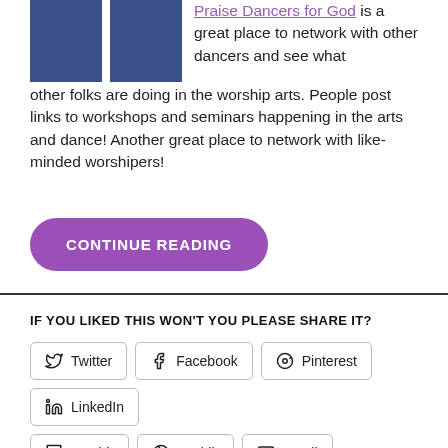[Figure (illustration): Two blue square image placeholders side by side]
Praise Dancers for God is a great place to network with other dancers and see what other folks are doing in the worship arts. People post links to workshops and seminars happening in the arts and dance! Another great place to network with like-minded worshipers!
CONTINUE READING
IF YOU LIKED THIS WON'T YOU PLEASE SHARE IT?
Twitter | Facebook | Pinterest | LinkedIn | Tumblr | Reddit | Email